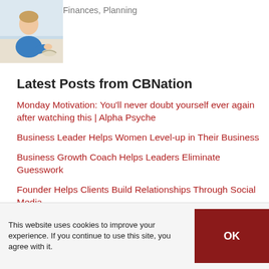[Figure (photo): Woman in blue shirt sitting at a table, reading or writing]
Finances, Planning
Latest Posts from CBNation
Monday Motivation: You'll never doubt yourself ever again after watching this | Alpha Psyche
Business Leader Helps Women Level-up in Their Business
Business Growth Coach Helps Leaders Eliminate Guesswork
Founder Helps Clients Build Relationships Through Social Media
Co-founder Creates Custom Digital Marketing Solutions
This website uses cookies to improve your experience. If you continue to use this site, you agree with it.